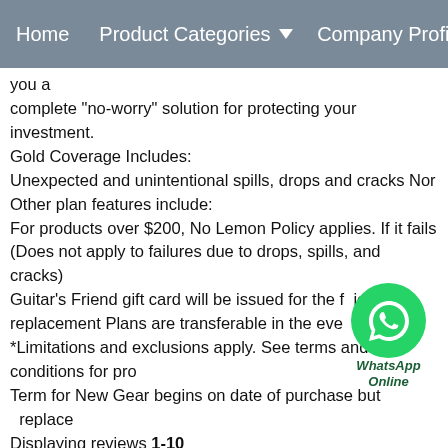Home   Product Categories ▾   Company Profile
you a
complete "no-worry" solution for protecting your investment.
Gold Coverage Includes:
Unexpected and unintentional spills, drops and cracks Nor
Other plan features include:
For products over $200, No Lemon Policy applies. If it fails
(Does not apply to failures due to drops, spills, and cracks)
Guitar's Friend gift card will be issued for the full price of the
replacement Plans are transferable in the event of merchandise
*Limitations and exclusions apply. See terms and conditions for pro
Term for New Gear begins on date of purchase but does not replace
Displaying reviews 1-10
Back to top
PreviousNext »
I wanted to buy a decent quality guitar for a Metal style pick
fabulous instrument! Unparalled quality for the money. The
guitar is now a total BEAST!) The Floyd Rose takes some p
the box, this is a great intermediate level guitar for Hard Ro
play Les Pauls, and I was blown away by my MH-50. Buy it
ESP MH-50 Electric Guitar with Tremolo Black Chrome Ha
This guitar is fantastic. I've been into a few music shops an